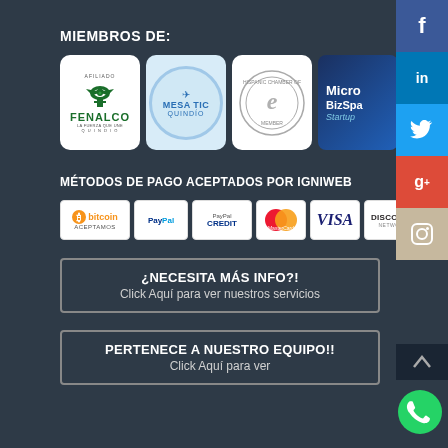MIEMBROS DE:
[Figure (logo): Four membership logos: FENALCO Afiliado Quindío (green eagle), Mesa TIC Quindío (blue circle badge), Hispanic Chamber of E-Commerce Member (round seal), Microsoft BizSpark Startup (dark blue)]
MÉTODOS DE PAGO ACEPTADOS POR IGNIWEB
[Figure (logo): Payment method badges: Bitcoin Aceptamos, PayPal, PayPal Credit, MasterCard, VISA, Discover, and partially visible additional card]
¿NECESITA MÁS INFO?!
Click Aquí para ver nuestros servicios
PERTENECE A NUESTRO EQUIPO!!
Click Aquí para ver